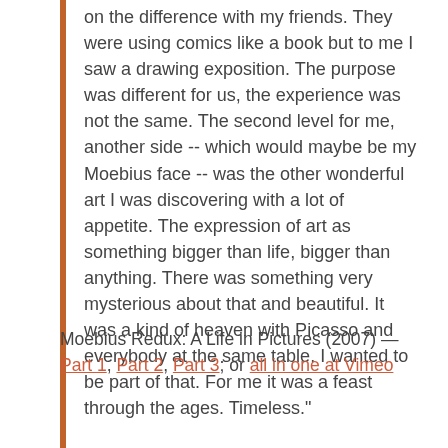on the difference with my friends. They were using comics like a book but to me I saw a drawing exposition. The purpose was different for us, the experience was not the same. The second level for me, another side -- which would maybe be my Moebius face -- was the other wonderful art I was discovering with a lot of appetite. The expression of art as something bigger than life, bigger than anything. There was something very mysterious about that and beautiful. It was a kind of heaven with Picasso and everybody at the same table. I wanted to be part of that. For me it was a feast through the ages. Timeless."
Moebius Redux: A Life in Pictures (2007) — Part 1, Part 2, Part 3; or all in one at Vimeo